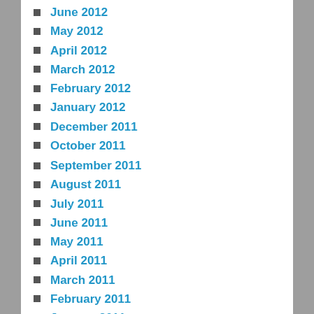June 2012
May 2012
April 2012
March 2012
February 2012
January 2012
December 2011
October 2011
September 2011
August 2011
July 2011
June 2011
May 2011
April 2011
March 2011
February 2011
January 2011
December 2010
November 2010
October 2010
September 2010
August 2010